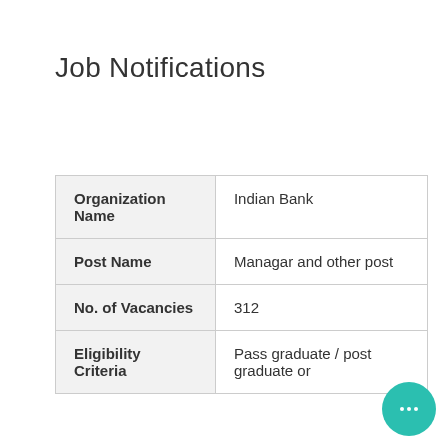Job Notifications
| Organization Name | Indian Bank |
| Post Name | Managar and other post |
| No. of Vacancies | 312 |
| Eligibility Criteria | Pass graduate / post graduate or |